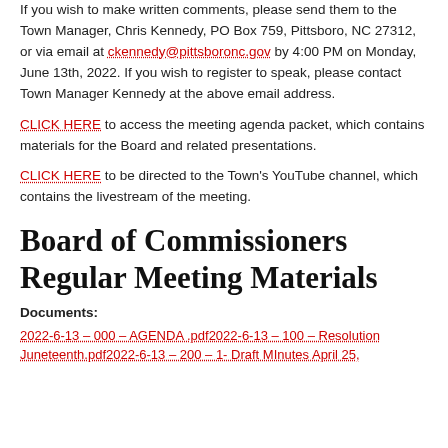If you wish to make written comments, please send them to the Town Manager, Chris Kennedy, PO Box 759, Pittsboro, NC 27312, or via email at ckennedy@pittsboronc.gov by 4:00 PM on Monday, June 13th, 2022. If you wish to register to speak, please contact Town Manager Kennedy at the above email address.
CLICK HERE to access the meeting agenda packet, which contains materials for the Board and related presentations.
CLICK HERE to be directed to the Town's YouTube channel, which contains the livestream of the meeting.
Board of Commissioners Regular Meeting Materials
Documents:
2022-6-13 – 000 – AGENDA .pdf2022-6-13 – 100 – Resolution Juneteenth.pdf2022-6-13 – 200 – 1- Draft MInutes April 25,